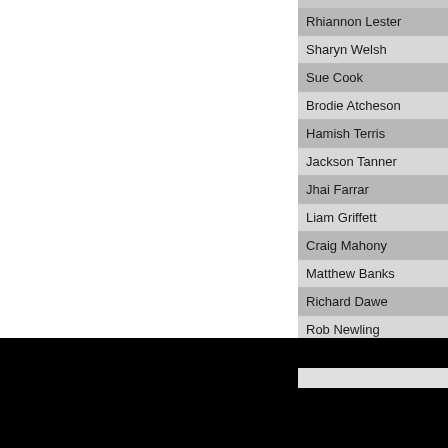Rhiannon Lester
Sharyn Welsh
Sue Cook
Brodie Atcheson
Hamish Terris
Jackson Tanner
Jhai Farrar
Liam Griffett
Craig Mahony
Matthew Banks
Richard Dawe
Rob Newling
Wil Pratt